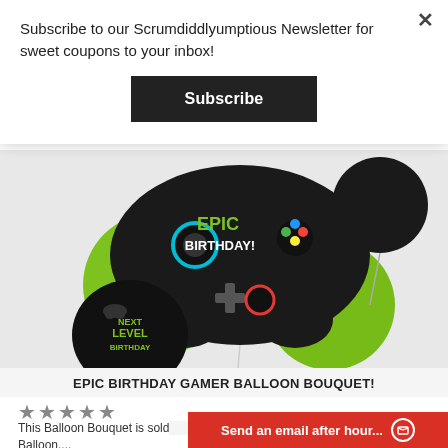Subscribe to our Scrumdiddlyumptious Newsletter for sweet coupons to your inbox!
×
Subscribe
[Figure (photo): Gaming controller balloon bouquet with black EPIC BIRTHDAY controller balloon, green round balloons, and NEXT LEVEL BIRTHDAY round balloon]
EPIC BIRTHDAY GAMER BALLOON BOUQUET!
★★★★★
This Balloon Bouquet is sold as a set and includes the JUMBO Controller Balloon,...
Send an email after hour...